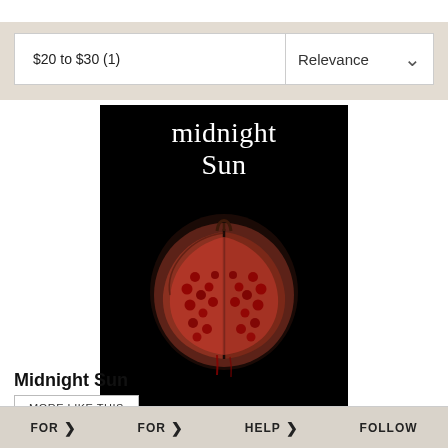$20 to $30 (1)
Relevance
[Figure (illustration): Book cover of 'Midnight Sun' by Stephenie Meyer. Black background with white serif text reading 'midnight sun' at top, a photographic image of a pomegranate cut open with red seeds and dripping juice, and author name 'STEPHENIE MEYER' and subtitle 'AUTHOR OF THE #1 BESTSELLING TWILIGHT SAGA' at the bottom.]
Midnight Sun
MORE LIKE THIS
FOR  >   FOR  >   HELP  >   FOLLOW